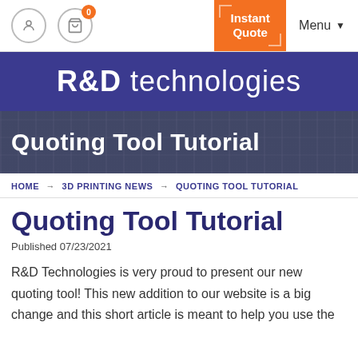R&D technologies — navigation bar with account icon, cart (0), Instant Quote button, Menu
[Figure (screenshot): R&D Technologies website logo bar — dark blue/purple background with white text reading R&D technologies]
[Figure (screenshot): Hero banner with faint industrial photo background, dark blue overlay, bold white text: Quoting Tool Tutorial]
HOME → 3D PRINTING NEWS → QUOTING TOOL TUTORIAL
Quoting Tool Tutorial
Published 07/23/2021
R&D Technologies is very proud to present our new quoting tool! This new addition to our website is a big change and this short article is meant to help you use the